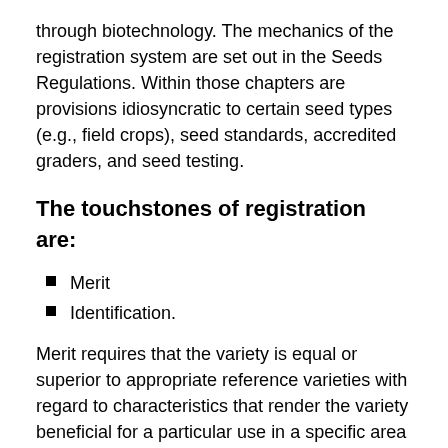through biotechnology. The mechanics of the registration system are set out in the Seeds Regulations. Within those chapters are provisions idiosyncratic to certain seed types (e.g., field crops), seed standards, accredited graders, and seed testing.
The touchstones of registration are:
Merit
Identification.
Merit requires that the variety is equal or superior to appropriate reference varieties with regard to characteristics that render the variety beneficial for a particular use in a specific area of Canada. This entails documentation including: description of pedigree, origin, method of development, environment, results, etc. This